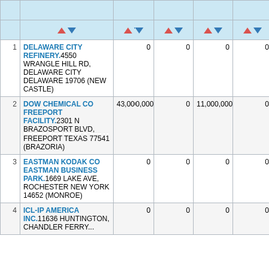| # | Facility | Col3 | Col4 | Col5 | Col6 | Col7 |
| --- | --- | --- | --- | --- | --- | --- |
| 1 | DELAWARE CITY REFINERY.4550 WRANGLE HILL RD, DELAWARE CITY DELAWARE 19706 (NEW CASTLE) | 0 | 0 | 0 | 0 |  |
| 2 | DOW CHEMICAL CO FREEPORT FACILITY.2301 N BRAZOSPORT BLVD, FREEPORT TEXAS 77541 (BRAZORIA) | 43,000,000 | 0 | 11,000,000 | 0 | 8,200... |
| 3 | EASTMAN KODAK CO EASTMAN BUSINESS PARK.1669 LAKE AVE, ROCHESTER NEW YORK 14652 (MONROE) | 0 | 0 | 0 | 0 | 68... |
| 4 | ICL-IP AMERICA INC.11636 HUNTINGTON, ... | 0 | 0 | 0 | 0 |  |